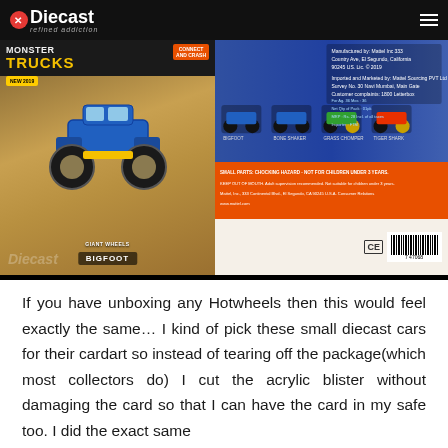Diecast refined addiction
[Figure (photo): Photo of a Hot Wheels Monster Trucks 'Bigfoot' diecast toy in original blister packaging (front left) and the back of the packaging showing product details and barcode (right), placed on a wooden surface.]
If you have unboxing any Hotwheels then this would feel exactly the same… I kind of pick these small diecast cars for their cardart so instead of tearing off the package(which most collectors do) I cut the acrylic blister without damaging the card so that I can have the card in my safe too. I did the exact same